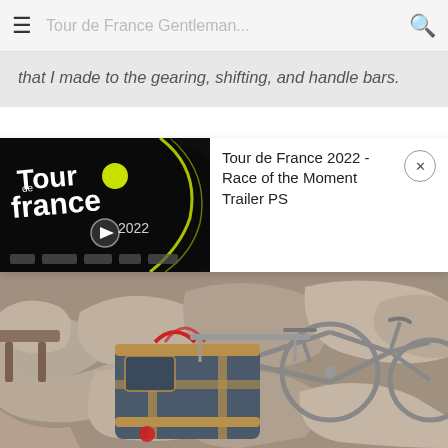Tour de France Gentleman...
that I made to the gearing, shifting, and handle bars.
[Figure (screenshot): Tour de France 2022 video thumbnail with dark background and neon yellow design elements]
Tour de France 2022 - Race of the Moment Trailer PS
[Figure (photo): A bicycle loaded with pannier bags parked on a stone patio]